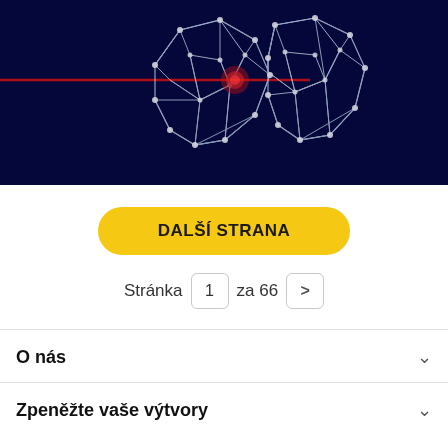[Figure (illustration): Dark navy background with a 3D wireframe geometric illustration of human lungs. The lungs are rendered with white polygon mesh/nodes connected by lines. A red horizontal laser line crosses the left side of the image, and there is a glowing red spot indicating a lesion or tumor on the left lung. The image has a digital/medical scanning aesthetic.]
DALŠÍ STRANA
Stránka 1 za 66 >
O nás
Zpeněžte vaše výtvory